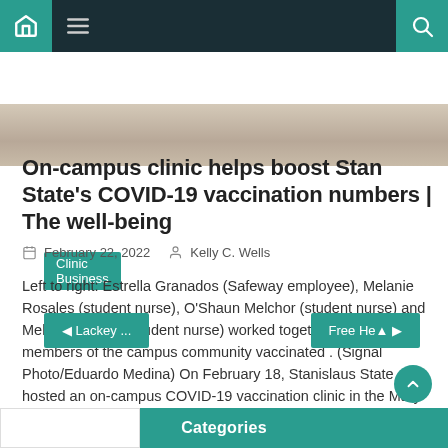Navigation bar with home, menu, and search icons
[Figure (photo): Partial photo strip showing what appears to be a medical/clinic setting]
Clinic Business
On-campus clinic helps boost Stan State’s COVID-19 vaccination numbers | The well-being
February 22, 2022   Kelly C. Wells
Left to right: Estrella Granados (Safeway employee), Melanie Rosales (student nurse), O’Shaun Melchor (student nurse) and Melissa Nichols (student nurse) worked together to help get members of the campus community vaccinated . (Signal Photo/Eduardo Medina) On February 18, Stanislaus State hosted an on-campus COVID-19 vaccination clinic in the Mary Stuart Rogers Building. The school has [...]
◄ Lackey ...   Categories   Free He▲ ►